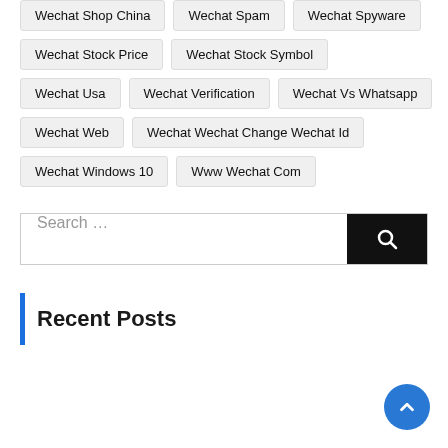Wechat Shop China
Wechat Spam
Wechat Spyware
Wechat Stock Price
Wechat Stock Symbol
Wechat Usa
Wechat Verification
Wechat Vs Whatsapp
Wechat Web
Wechat Wechat Change Wechat Id
Wechat Windows 10
Www Wechat Com
Search ...
Recent Posts